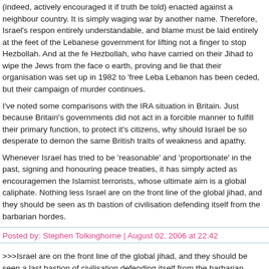(indeed, actively encouraged it if truth be told) enacted against a neighbour country. It is simply waging war by another name. Therefore, Israel's response entirely understandable, and blame must be laid entirely at the feet of the Lebanese government for lifting not a finger to stop Hezbollah. And at the feet of Hezbollah, who have carried on their Jihad to wipe the Jews from the face of the earth, proving and lie that their organisation was set up in 1982 to 'free Lebanon'. Lebanon has been ceded, but their campaign of murder continues.
I've noted some comparisons with the IRA situation in Britain. Just because Britain's governments did not act in a forcible manner to fulfill their primary function, to protect it's citizens, why should Israel be so desperate to demonstrate the same British traits of weakness and apathy.
Whenever Israel has tried to be 'reasonable' and 'proportionate' in the past, signing and honouring peace treaties, it has simply acted as encouragement to the Islamist terrorists, whose ultimate aim is a global caliphate. Nothing less. Israel are on the front line of the global jihad, and they should be seen as the last bastion of civilisation defending itself from the barbarian hordes.
Posted by: Stephen Tolkinghorne | August 02, 2006 at 22:42
>>>Israel are on the front line of the global jihad, and they should be seen as the last bastion of civilisation defending itself from the barbarian hordes.>>>
If I...